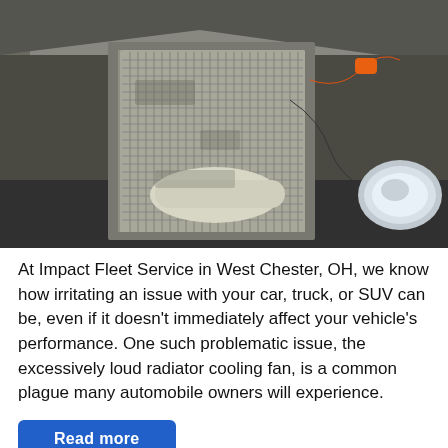[Figure (photo): A mechanic in white gloves holding up a dirty car radiator/heat exchanger in front of a vehicle with the hood open. The car's headlight and engine bay with orange-capped components are visible in the background.]
At Impact Fleet Service in West Chester, OH, we know how irritating an issue with your car, truck, or SUV can be, even if it doesn't immediately affect your vehicle's performance. One such problematic issue, the excessively loud radiator cooling fan, is a common plague many automobile owners will experience.
Read more